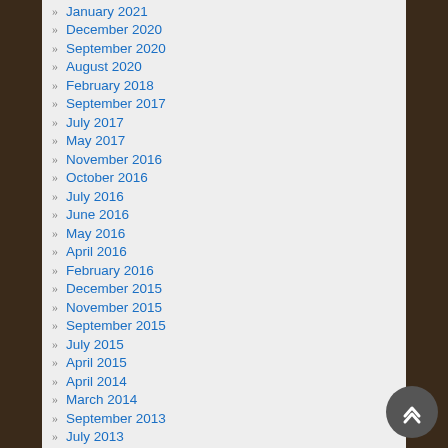January 2021
December 2020
September 2020
August 2020
February 2018
September 2017
July 2017
May 2017
November 2016
October 2016
July 2016
June 2016
May 2016
April 2016
February 2016
December 2015
November 2015
September 2015
July 2015
April 2015
April 2014
March 2014
September 2013
July 2013
May 2013